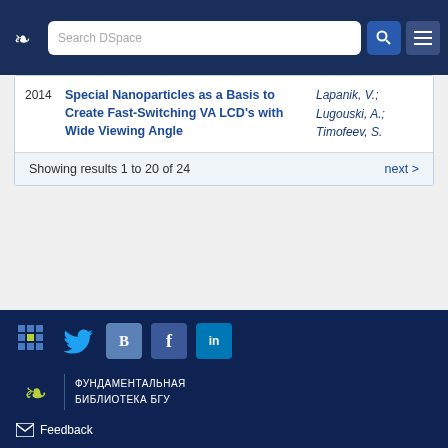Search DSpace
| Year | Title | Authors |
| --- | --- | --- |
| 2014 | Special Nanoparticles as a Basis to Create Fast-Switching VA LCD's with Wide Viewing Angle | Lapanik, V.; Lugouski, A.; Timofeev, S. |
Showing results 1 to 20 of 24
next >
ФУНДАМЕНТАЛЬНАЯ БИБЛИОТЕКА БГУ  Feedback